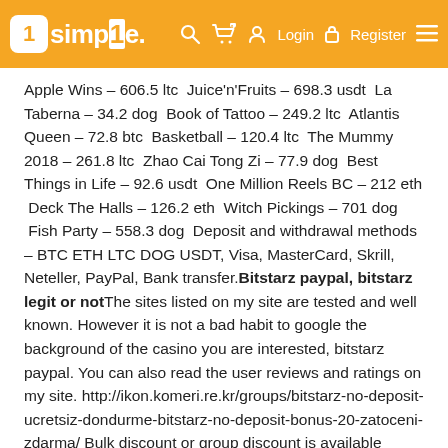1simple. Login Register
Apple Wins – 606.5 ltc  Juice'n'Fruits – 698.3 usdt  La Taberna – 34.2 dog  Book of Tattoo – 249.2 ltc  Atlantis Queen – 72.8 btc  Basketball – 120.4 ltc  The Mummy 2018 – 261.8 ltc  Zhao Cai Tong Zi – 77.9 dog  Best Things in Life – 92.6 usdt  One Million Reels BC – 212 eth  Deck The Halls – 126.2 eth  Witch Pickings – 701 dog  Fish Party – 558.3 dog  Deposit and withdrawal methods – BTC ETH LTC DOG USDT, Visa, MasterCard, Skrill, Neteller, PayPal, Bank transfer.Bitstarz paypal, bitstarz legit or notThe sites listed on my site are tested and well known. However it is not a bad habit to google the background of the casino you are interested, bitstarz paypal. You can also read the user reviews and ratings on my site. http://ikon.komeri.re.kr/groups/bitstarz-no-deposit-ucretsiz-dondurme-bitstarz-no-deposit-bonus-20-zatoceni-zdarma/ Bulk discount or group discount is available online. Besides, bitstarz gift card, is a smart way to all bitstarz shoppers. You can send it as a gift to your friends, families and